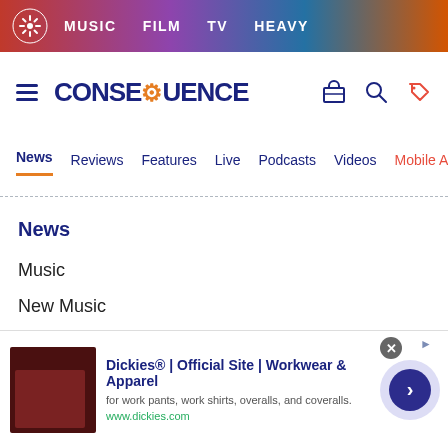MUSIC  FILM  TV  HEAVY
[Figure (logo): Consequence of Sound logo with hamburger menu and icons]
News  Reviews  Features  Live  Podcasts  Videos  Mobile A
News
Music
New Music
Album Streams
Upcoming Releases
Film
[Figure (screenshot): Dickies ad banner: Dickies® | Official Site | Workwear & Apparel — for work pants, work shirts, overalls, and coveralls. www.dickies.com]